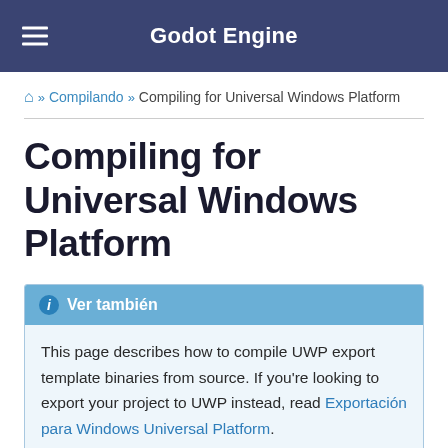Godot Engine
⌂ » Compilando » Compiling for Universal Windows Platform
Compiling for Universal Windows Platform
ℹ Ver también
This page describes how to compile UWP export template binaries from source. If you're looking to export your project to UWP instead, read Exportación para Windows Universal Platform.